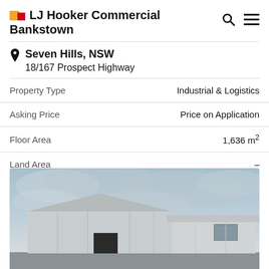LJ Hooker Commercial Bankstown
Seven Hills, NSW
18/167 Prospect Highway
| Property Type | Industrial & Logistics |
| --- | --- |
| Asking Price | Price on Application |
| Floor Area | 1,636 m² |
| Land Area | – |
[Figure (photo): Exterior photo of an industrial warehouse building under a cloudy grey sky]